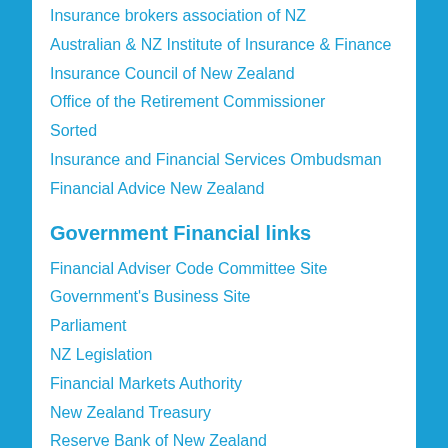Insurance brokers association of NZ
Australian & NZ Institute of Insurance & Finance
Insurance Council of New Zealand
Office of the Retirement Commissioner
Sorted
Insurance and Financial Services Ombudsman
Financial Advice New Zealand
Government Financial links
Financial Adviser Code Committee Site
Government's Business Site
Parliament
NZ Legislation
Financial Markets Authority
New Zealand Treasury
Reserve Bank of New Zealand
Ministry of economic development